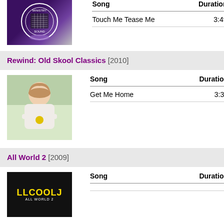[Figure (photo): Ministry of Sound album cover with globe logo on dark purple background]
| Song | Duration |
| --- | --- |
| Touch Me Tease Me | 3:49 |
Rewind: Old Skool Classics [2010]
[Figure (photo): Photo of a smiling blonde woman in a light pink top with a yellow accessory]
| Song | Duration |
| --- | --- |
| Get Me Home | 3:37 |
All World 2 [2009]
[Figure (photo): LL Cool J - All World 2 album cover with yellow text on dark background]
| Song | Duration |
| --- | --- |